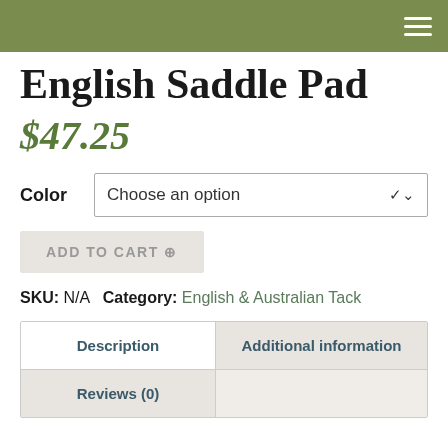English Saddle Pad
$47.25
Color  Choose an option
ADD TO CART ⊕
SKU: N/A  Category: English & Australian Tack
| Description | Additional information |
| --- | --- |
| Reviews (0) |  |